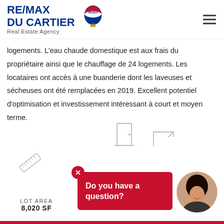RE/MAX DU CARTIER — Real Estate Agency
logements. L'eau chaude domestique est aux frais du propriétaire ainsi que le chauffage de 24 logements. Les locataires ont accès à une buanderie dont les laveuses et sécheuses ont été remplacées en 2019. Excellent potentiel d'optimisation et investissement intéressant à court et moyen terme.
LOT AREA
8,020 SF
Do you have a question?